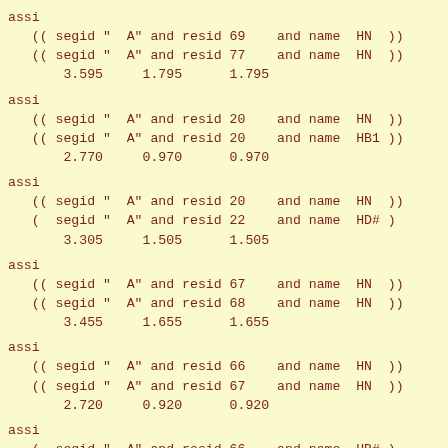assi
   (( segid "  A" and resid 69    and name  HN  ))
   (( segid "  A" and resid 77    and name  HN  ))
       3.595     1.795      1.795
assi
   (( segid "  A" and resid 20    and name  HN  ))
   (( segid "  A" and resid 20    and name  HB1 ))
       2.770     0.970      0.970
assi
   (( segid "  A" and resid 20    and name  HN  ))
   (  segid "  A" and resid 22    and name  HD# )
       3.305     1.505      1.505
assi
   (( segid "  A" and resid 67    and name  HN  ))
   (( segid "  A" and resid 68    and name  HN  ))
       3.455     1.655      1.655
assi
   (( segid "  A" and resid 66    and name  HN  ))
   (( segid "  A" and resid 67    and name  HN  ))
       2.720     0.920      0.920
assi
   (  segid "  A" and resid 66    and name  HB# )
   (( segid "  A" and resid 67    and name  HN  ))
       3.395     1.595      1.595